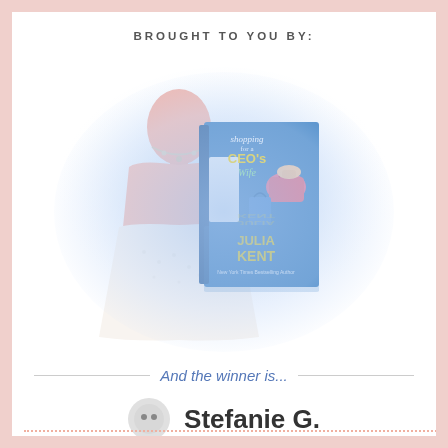BROUGHT TO YOU BY:
[Figure (illustration): Book cover of 'Shopping for a CEO's Wife' by Julia Kent, shown in front of a soft-focus bridal mannequin with wedding dress and necklace, blue radial glow background, with mirror reflection of book at bottom.]
And the winner is...
Stefanie G.